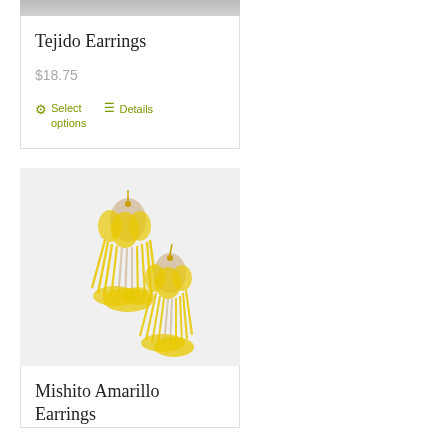[Figure (photo): Partial view of Tejido Earrings product photo (top cropped)]
Tejido Earrings
$18.75
Select options   Details
[Figure (photo): Photo of Mishito Amarillo Earrings - yellow and cream beaded fringe earrings on white background]
Mishito Amarillo Earrings